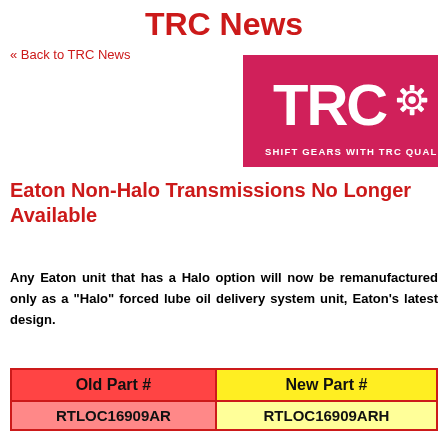TRC News
« Back to TRC News
[Figure (logo): TRC logo — magenta/pink background with large white letters TRC and a gear icon, tagline SHIFT GEARS WITH TRC QUALITY in white]
Eaton Non-Halo Transmissions No Longer Available
Any Eaton unit that has a Halo option will now be remanufactured only as a "Halo" forced lube oil delivery system unit, Eaton's latest design.
| Old Part # | New Part # |
| --- | --- |
| RTLOC16909AR | RTLOC16909ARH |